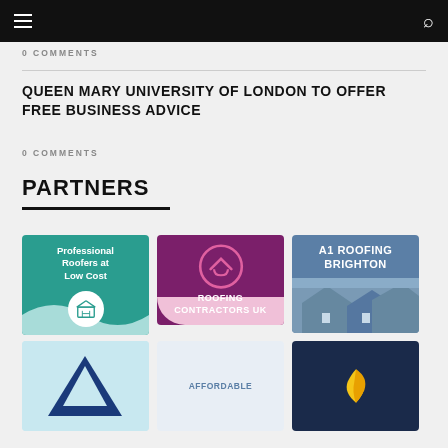0 COMMENTS
QUEEN MARY UNIVERSITY OF LONDON TO OFFER FREE BUSINESS ADVICE
0 COMMENTS
PARTNERS
[Figure (illustration): Partner logo: Professional Roofers at Low Cost (teal background with roof/ladder icon)]
[Figure (logo): Partner logo: Roofing Contractors UK (dark purple background with circular roof icon)]
[Figure (illustration): Partner logo: A1 Roofing Brighton (blue background with house roofline photo)]
[Figure (illustration): Partner logo: partial logo with light blue background]
[Figure (logo): Partner logo: AFFORDABLE text on light background]
[Figure (logo): Partner logo: dark navy background with yellow symbol]